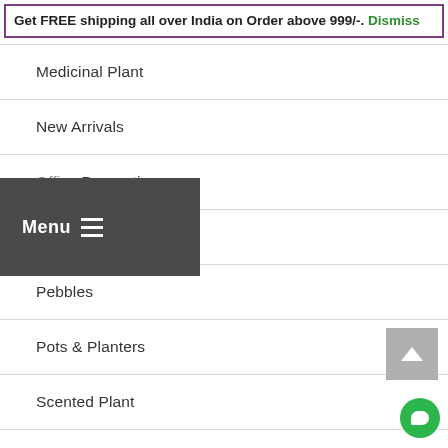Get FREE shipping all over India on Order above 999/-. Dismiss
Medicinal Plant
New Arrivals
Office Decoratives
Outdoor Plant
Pebbles
Pots & Planters
Scented Plant
Succulent